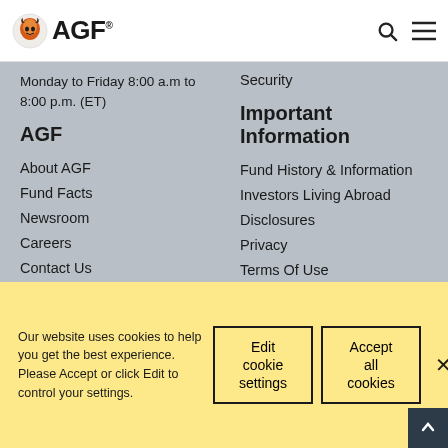AGF
Monday to Friday 8:00 a.m to 8:00 p.m. (ET)
Security
AGF
Important Information
About AGF
Fund Facts
Newsroom
Careers
Contact Us
Fund History & Information
Investors Living Abroad
Disclosures
Privacy
Terms Of Use
Our website uses cookies to help you get the best experience. Please Accept or click Edit to control your settings.